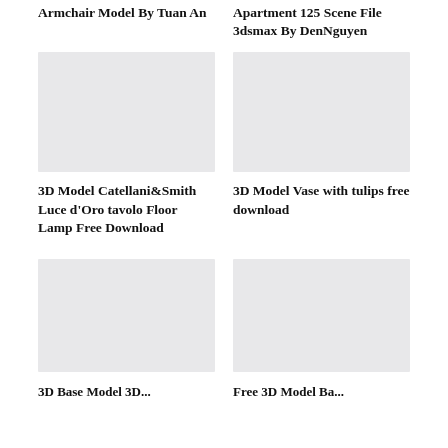Armchair Model By Tuan An
Apartment 125 Scene File 3dsmax By DenNguyen
[Figure (illustration): Gray placeholder image for 3D Model Catellani&Smith Luce d'Oro tavolo Floor Lamp]
[Figure (illustration): Gray placeholder image for 3D Model Vase with tulips]
3D Model Catellani&Smith Luce d'Oro tavolo Floor Lamp Free Download
3D Model Vase with tulips free download
[Figure (illustration): Gray placeholder image bottom left]
[Figure (illustration): Gray placeholder image bottom right]
3D Base Model 3D...
Free 3D Model Ba...